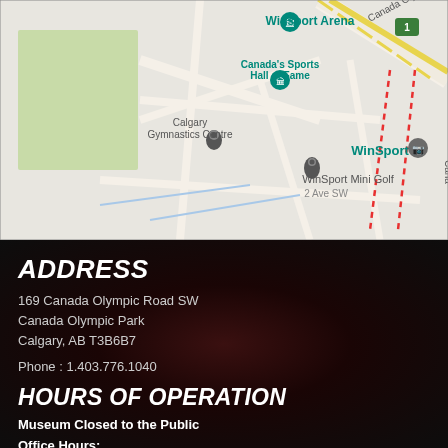[Figure (map): Google Maps screenshot showing WinSport area in Calgary, AB. Visible landmarks include Winsport Arena, Canada's Sports Hall of Fame, Calgary Gymnastics Centre, WinSport Mini Golf, WinSport, Canada Olympic Dr SW, 2 Ave SW. Map pins and dotted red lines visible.]
ADDRESS
169 Canada Olympic Road SW
Canada Olympic Park
Calgary, AB T3B6B7

Phone : 1.403.776.1040
HOURS OF OPERATION
Museum Closed to the Public
Office Hours:
Monday to Friday 8:30AM - 5PM